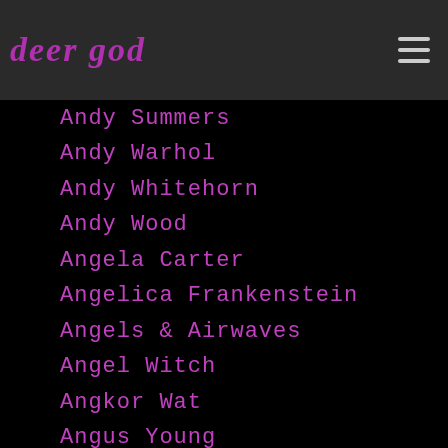deer god
Andy Summers
Andy Warhol
Andy Whitehorn
Andy Wood
Angela Carter
Angelica Frankenstein
Angels & Airwaves
Angel Witch
Angkor Wat
Angus Young
Animal Collective
Animal Man
Animals
Animation
Anjoli Chadha
Annette Mae
Antelope